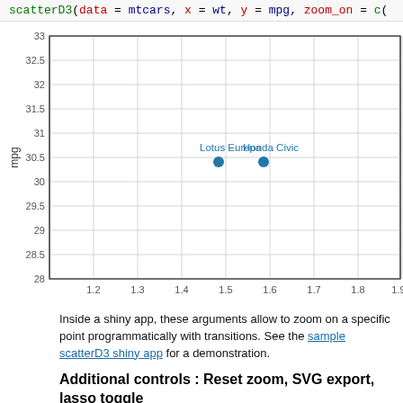scatterD3(data = mtcars, x = wt, y = mpg, zoom_on = c(
[Figure (continuous-plot): Scatter plot showing mpg vs wt for mtcars dataset. Y-axis ranges from 28 to 33 (mpg), x-axis from 1.2 to 1.9+. Two data points are visible and labeled: 'Lotus Europa' at approximately (1.51, 30.4) and 'Honda Civic' at approximately (1.61, 30.4). The plot has a white background with light gray gridlines.]
Inside a shiny app, these arguments allow to zoom on a specific point programmatically with transitions. See the sample scatterD3 shiny app for a demonstration.
Additional controls : Reset zoom, SVG export, lasso toggle